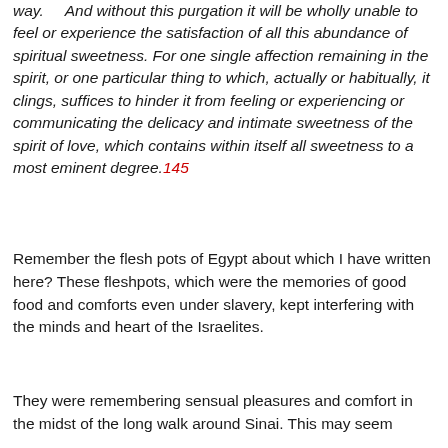way.    And without this purgation it will be wholly unable to feel or experience the satisfaction of all this abundance of spiritual sweetness. For one single affection remaining in the spirit, or one particular thing to which, actually or habitually, it clings, suffices to hinder it from feeling or experiencing or communicating the delicacy and intimate sweetness of the spirit of love, which contains within itself all sweetness to a most eminent degree.145
Remember the flesh pots of Egypt about which I have written here? These fleshpots, which were the memories of good food and comforts even under slavery, kept interfering with the minds and heart of the Israelites.
They were remembering sensual pleasures and comfort in the midst of the long walk around Sinai. This may seem